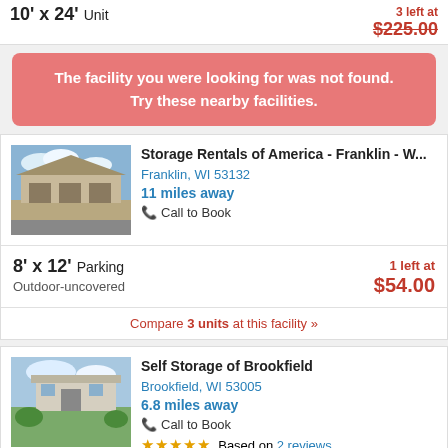10' x 24' Unit — 3 left at $225.00
The facility you were looking for was not found. Try these nearby facilities.
Storage Rentals of America - Franklin - W...
Franklin, WI 53132
11 miles away
Call to Book
8' x 12' Parking — 1 left at $54.00
Outdoor-uncovered
Compare 3 units at this facility »
Self Storage of Brookfield
Brookfield, WI 53005
6.8 miles away
Call to Book
Based on 2 reviews
10' x 35' Parking — 1 left at $95.00
Free Lock with Rental!